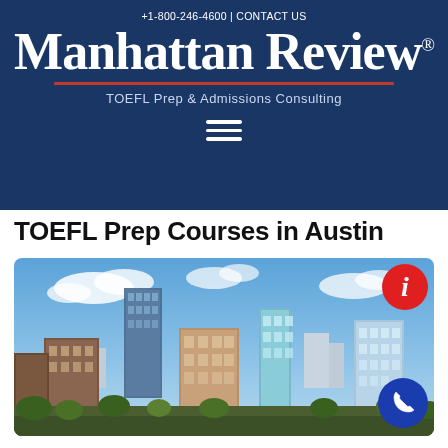+1-800-246-4600 | CONTACT US
Manhattan Review®
TOEFL Prep & Admissions Consulting
TOEFL Prep Courses in Austin
[Figure (photo): Aerial view of Austin, Texas skyline with tall modern glass and brick skyscrapers against a blue sky with clouds]